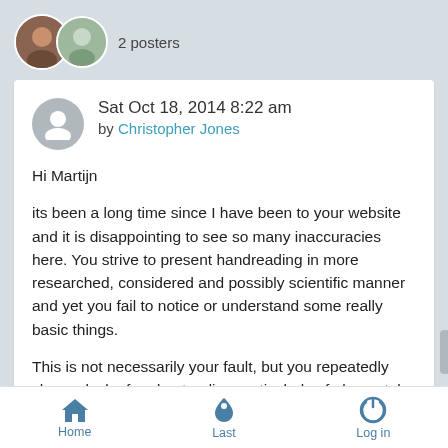[Figure (photo): Two overlapping circular avatar images and '2 posters' label]
2 posters
Sat Oct 18, 2014 8:22 am
by Christopher Jones
Hi Martijn

its been a long time since I have been to your website and it is disappointing to see so many inaccuracies here. You strive to present handreading in more researched, considered and possibly scientific manner and yet you fail to notice or understand some really basic things.

This is not necessarily your fault, but you repeatedly show a lack of understanding particularly of elemental handreading, mostly because you never studied it but secondly because you
Home   Last   Log in